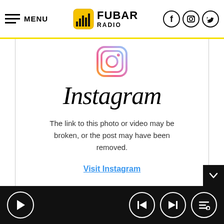MENU | FUBAR RADIO | Facebook, Instagram, Twitter icons
[Figure (logo): Instagram camera icon logo with gradient border (pink/orange/yellow)]
Instagram
The link to this photo or video may be broken, or the post may have been removed.
Visit Instagram
Play button | Skip back | Skip forward | Playlist controls